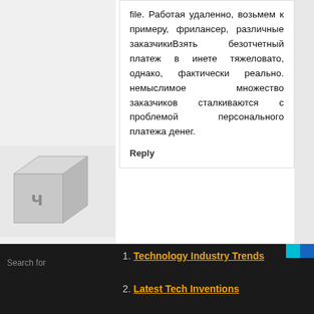file. Работая удаленно, возьмем к примеру, фрилансер, различные заказчикиВзять безотчетный платеж в инете тяжеловато, однако, фактически реально. немыслимое множество заказчиков сталкиваются с проблемой персонального платежа денег.
Reply
ANONYMOUS  MARCH 6, 2022 AT 9:04 AM
Крупнейший развлекательный проект «Гидра» https://w3.hyrda-tor.com
Reply
1. Technology Industry Trends
2. Latest Tech Inventions